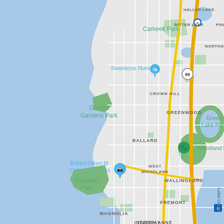[Figure (map): Google Maps view of northwest Seattle, Washington showing neighborhoods including Crown Hill, Greenwood, Ballard, West Woodland, Wallingford, Fremont, Magnolia, Interbay, Queen Anne, and parks including Carkeek Park, Golden Gardens Park, Green Lake Park, Woodland Park, and Discovery Park. Puget Sound (water) is visible on the left. Interstate 5 runs along the right side. Yellow highway routes including SR-99 are visible. Points of interest markers include Swansons Nursery (blue pin with shopping bag icon) and Ballard (Hiram M. Chittenden) Locks (teal camera pin). Woodland Park has a green paw print marker.]